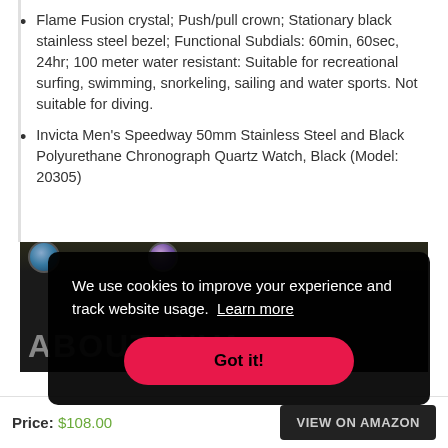Flame Fusion crystal; Push/pull crown; Stationary black stainless steel bezel; Functional Subdials: 60min, 60sec, 24hr; 100 meter water resistant: Suitable for recreational surfing, swimming, snorkeling, sailing and water sports. Not suitable for diving.
Invicta Men's Speedway 50mm Stainless Steel and Black Polyurethane Chronograph Quartz Watch, Black (Model: 20305)
[Figure (screenshot): Partial product image of watches on dark background with 'ABOUT INVICTA WATCHES' text partially visible, overlaid by a cookie consent dialog]
We use cookies to improve your experience and track website usage.  Learn more
Got it!
Price: $108.00
VIEW ON AMAZON